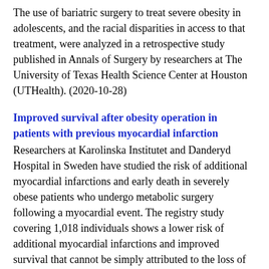The use of bariatric surgery to treat severe obesity in adolescents, and the racial disparities in access to that treatment, were analyzed in a retrospective study published in Annals of Surgery by researchers at The University of Texas Health Science Center at Houston (UTHealth). (2020-10-28)
Improved survival after obesity operation in patients with previous myocardial infarction
Researchers at Karolinska Institutet and Danderyd Hospital in Sweden have studied the risk of additional myocardial infarctions and early death in severely obese patients who undergo metabolic surgery following a myocardial event. The registry study covering 1,018 individuals shows a lower risk of additional myocardial infarctions and improved survival that cannot be simply attributed to the loss of weight. The study is published in the journal Circulation. (2020-10-26)